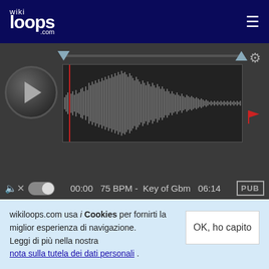[Figure (screenshot): wikiloops.com website header with logo and hamburger menu on dark navy background]
[Figure (other): Audio player with waveform display, play button, time 00:00 to 06:14, 75 BPM, Key of Gbm, PUB badge]
1 anno fa
slin
a really cool noodling here David well done 😉
wikiloops.com usa i Cookies per fornirti la miglior esperienza di navigazione.
Leggi di più nella nostra nota sulla tutela dei dati personali .
OK, ho capito